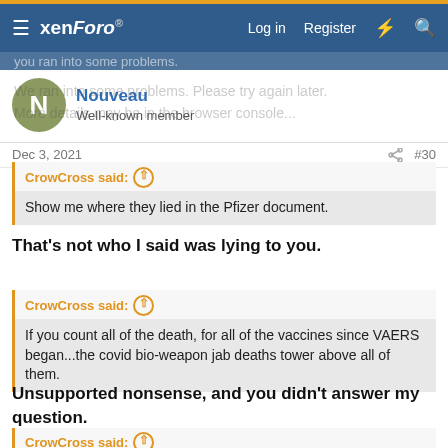xenForo — Log in | Register
Nouveau
Well-known member
Dec 3, 2021  #30
CrowCross said: ↑
Show me where they lied in the Pfizer document.
That's not who I said was lying to you.
CrowCross said: ↑
If you count all of the death, for all of the vaccines since VAERS began...the covid bio-weapon jab deaths tower above all of them.
Unsupported nonsense, and you didn't answer my question.
CrowCross said: ↑